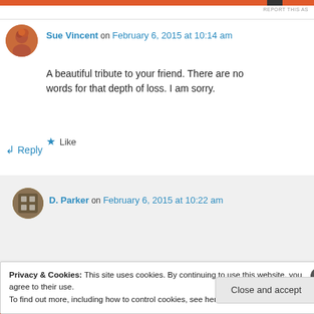REPORT THIS AS
Sue Vincent on February 6, 2015 at 10:14 am
A beautiful tribute to your friend. There are no words for that depth of loss. I am sorry.
Like
Reply
D. Parker on February 6, 2015 at 10:22 am
Privacy & Cookies: This site uses cookies. By continuing to use this website, you agree to their use. To find out more, including how to control cookies, see here: Cookie Policy
Close and accept